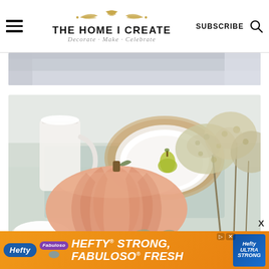THE HOME I CREATE — Decorate · Make · Celebrate — SUBSCRIBE
[Figure (photo): Partial view of a light-colored interior scene at the top of the page, showing a wall or window.]
[Figure (photo): Fall/autumn tablescape with a large blush pink pumpkin in the foreground, white dishes on a wicker placemat with a green pear, dried hydrangea flowers on the right, white pitcher and bowl on the left, on a light blue/grey table runner.]
[Figure (infographic): Hefty advertisement banner: 'HEFTY STRONG, FABULOSO FRESH' in large italic white text on orange background, with Hefty and Fabuloso logos and product imagery.]